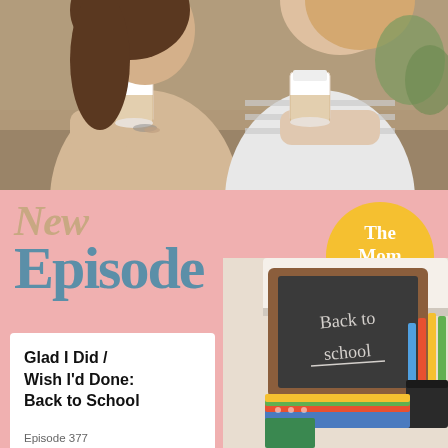[Figure (photo): Two women sitting at a table holding white coffee cups, smiling. One wears a beige cardigan, the other a striped top. Green plant visible in background.]
New Episode
[Figure (logo): Yellow circle badge with white text reading 'The Mom Hour.']
Glad I Did / Wish I'd Done: Back to School
Episode 377
[Figure (photo): Back to school chalkboard sign with school supplies (notebooks, pencils, pencil holder) in the background.]